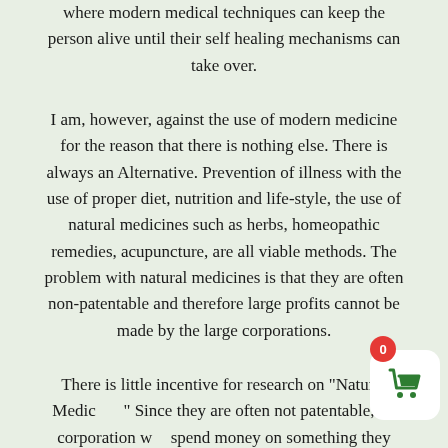where modern medical techniques can keep the person alive until their self healing mechanisms can take over.
I am, however, against the use of modern medicine for the reason that there is nothing else. There is always an Alternative. Prevention of illness with the use of proper diet, nutrition and life-style, the use of natural medicines such as herbs, homeopathic remedies, acupuncture, are all viable methods. The problem with natural medicines is that they are often non-patentable and therefore large profits cannot be made by the large corporations.
There is little incentive for research on "Natural Medicine". Since they are often not patentable, no corporation will spend money on something they cannot exploit. Modern medicine is not controlled by the doctors, they are a puppet